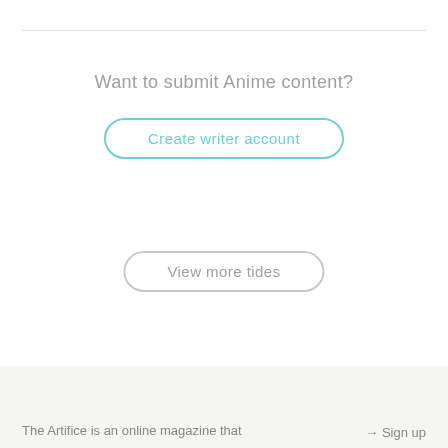Want to submit Anime content?
Create writer account
View more tides
The Artifice is an online magazine that → Sign up